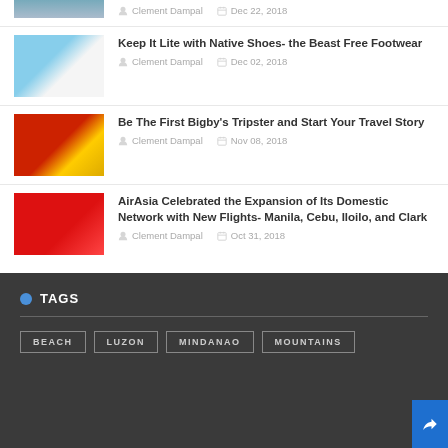Clement Dampal | Dec 22, 2018
Keep It Lite with Native Shoes- the Beast Free Footwear | Clement Dampal | Dec 02, 2018
Be The First Bigby's Tripster and Start Your Travel Story | Clement Dampal | Nov 08, 2018
AirAsia Celebrated the Expansion of Its Domestic Network with New Flights- Manila, Cebu, Iloilo, and Clark | Clement Dampal | Oct 31, 2018
TAGS
BEACH
LUZON
MINDANAO
MOUNTAINS